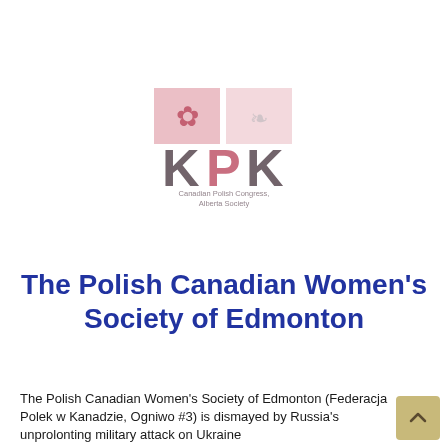[Figure (logo): Canadian Polish Congress Alberta Society logo — KPK letters with maple leaf and eagle emblem in pink/red and gray tones, with text 'Canadian Polish Congress, Alberta Society' below]
The Polish Canadian Women's Society of Edmonton
The Polish Canadian Women's Society of Edmonton (Federacja Polek w Kanadzie, Ogniwo #3) is dismayed by Russia's unprolonting military attack on Ukraine...